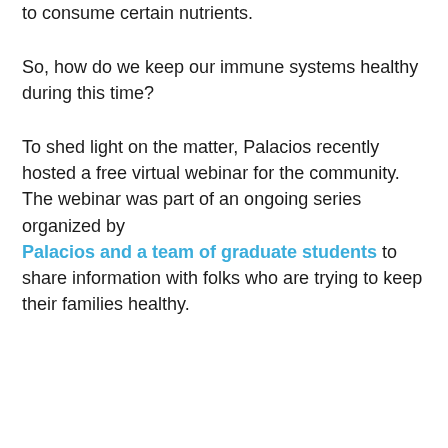to consume certain nutrients.
So, how do we keep our immune systems healthy during this time?
To shed light on the matter, Palacios recently hosted a free virtual webinar for the community. The webinar was part of an ongoing series organized by Palacios and a team of graduate students to share information with folks who are trying to keep their families healthy.